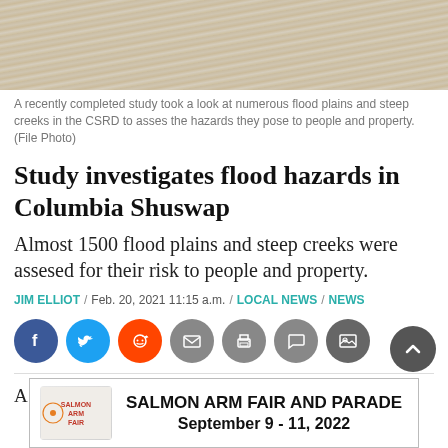[Figure (photo): Aerial or close-up view of muddy/brown flood water with ripples and waves]
A recently completed study took a look at numerous flood plains and steep creeks in the CSRD to asses the hazards they pose to people and property. (File Photo)
Study investigates flood hazards in Columbia Shuswap
Almost 1500 flood plains and steep creeks were assesed for their risk to people and property.
JIM ELLIOT / Feb. 20, 2021 11:15 a.m. / LOCAL NEWS / NEWS
[Figure (infographic): Social media sharing icons: Facebook, Twitter, Reddit, Email, Print, Comment, Photo]
A recently completed study is allowing the Columbia
[Figure (infographic): Advertisement banner: Salmon Arm Fair and Parade, September 9 - 11, 2022]